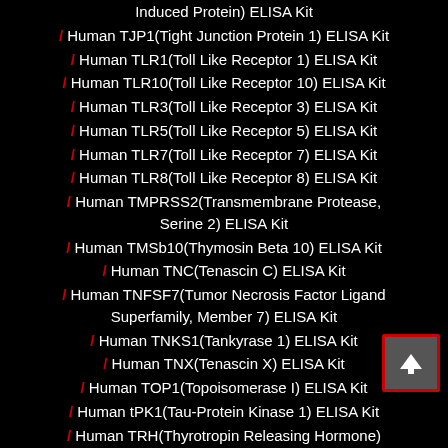Induced Protein) ELISA Kit
/ Human TJP1(Tight Junction Protein 1) ELISA Kit
/ Human TLR1(Toll Like Receptor 1) ELISA Kit
/ Human TLR10(Toll Like Receptor 10) ELISA Kit
/ Human TLR3(Toll Like Receptor 3) ELISA Kit
/ Human TLR5(Toll Like Receptor 5) ELISA Kit
/ Human TLR7(Toll Like Receptor 7) ELISA Kit
/ Human TLR8(Toll Like Receptor 8) ELISA Kit
/ Human TMPRSS2(Transmembrane Protease, Serine 2) ELISA Kit
/ Human TMSb10(Thymosin Beta 10) ELISA Kit
/ Human TNC(Tenascin C) ELISA Kit
/ Human TNFSF7(Tumor Necrosis Factor Ligand Superfamily, Member 7) ELISA Kit
/ Human TNKS1(Tankyrase 1) ELISA Kit
/ Human TNX(Tenascin X) ELISA Kit
/ Human TOP1(Topoisomerase I) ELISA Kit
/ Human tPK1(Tau-Protein Kinase 1) ELISA Kit
/ Human TRH(Thyrotropin Releasing Hormone)